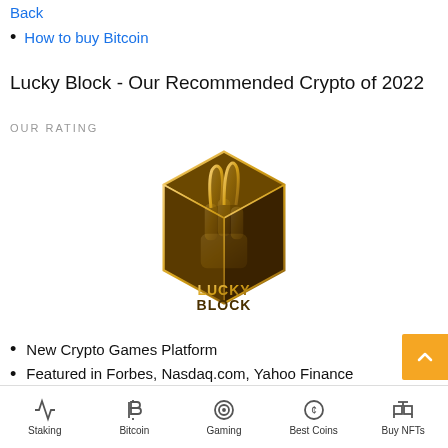Back
How to buy Bitcoin
Lucky Block - Our Recommended Crypto of 2022
OUR RATING
[Figure (logo): Lucky Block logo — a golden hexagonal crest with a robotic fist making a peace sign, with 'LUCKY BLOCK' text beneath in gold and dark brown]
New Crypto Games Platform
Featured in Forbes, Nasdaq.com, Yahoo Finance
Staking | Bitcoin | Gaming | Best Coins | Buy NFTs